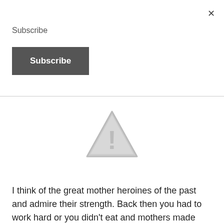×
Subscribe
Subscribe
[Figure (illustration): Warning triangle icon with exclamation mark, gray colored]
I think of the great mother heroines of the past and admire their strength. Back then you had to work hard or you didn't eat and mothers made sure they worked hard to make sure their families had food. They learned to